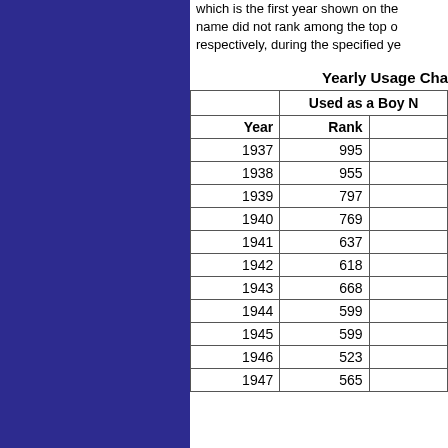which is the first year shown on the... name did not rank among the top o... respectively, during the specified ye...
Yearly Usage Cha...
| Year | Rank |  |
| --- | --- | --- |
| 1937 | 995 |  |
| 1938 | 955 |  |
| 1939 | 797 |  |
| 1940 | 769 |  |
| 1941 | 637 |  |
| 1942 | 618 |  |
| 1943 | 668 |  |
| 1944 | 599 |  |
| 1945 | 599 |  |
| 1946 | 523 |  |
| 1947 | 565 |  |